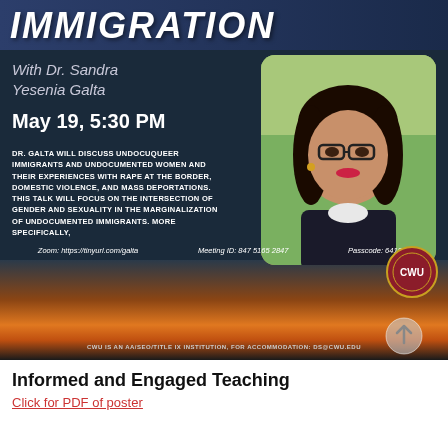[Figure (infographic): Event poster for a talk on immigration at CWU featuring Dr. Sandra Yesenia Galta. Dark blue background with title IMMIGRATION in bold italic white text at top. Speaker photo on right side showing a young woman with glasses and dark hair. Text includes date May 19 5:30 PM, description of talk about undocuqueer immigrants and undocumented women. Bottom has sunset landscape background with Zoom meeting details and CWU logo.]
IMMIGRATION
With Dr. Sandra Yesenia Galta
May 19, 5:30 PM
DR. GALTA WILL DISCUSS UNDOCUQUEER IMMIGRANTS AND UNDOCUMENTED WOMEN AND THEIR EXPERIENCES WITH RAPE AT THE BORDER, DOMESTIC VIOLENCE, AND MASS DEPORTATIONS. THIS TALK WILL FOCUS ON THE INTERSECTION OF GENDER AND SEXUALITY IN THE MARGINALIZATION OF UNDOCUMENTED IMMIGRANTS. MORE SPECIFICALLY,
Zoom: https://tinyurl.com/galta    Meeting ID: 847 5165 2847    Passcode: 641844
CWU IS AN AA/SEO/TITLE IX INSTITUTION, FOR ACCOMMODATION: DS@CWU.EDU
Informed and Engaged Teaching
Click for PDF of poster